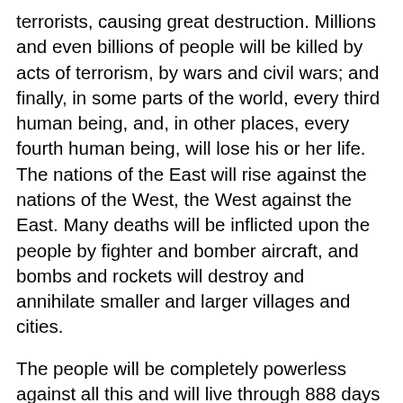terrorists, causing great destruction. Millions and even billions of people will be killed by acts of terrorism, by wars and civil wars; and finally, in some parts of the world, every third human being, and, in other places, every fourth human being, will lose his or her life. The nations of the East will rise against the nations of the West, the West against the East. Many deaths will be inflicted upon the people by fighter and bomber aircraft, and bombs and rockets will destroy and annihilate smaller and larger villages and cities.
The people will be completely powerless against all this and will live through 888 days of Hell on Earth, suffering hunger and plagues which will claim even more lives than the war itself. The time will be severe as never before experienced on Earth. Ultimately, nothing can be bought or sold any longer. All provisions will be rationed; and if a human being steals even a small piece of bread, he/she will have to pay for it with his/her life. Many waters will mix with human blood and turn red, as once in the past the Nile in Egypt turned red